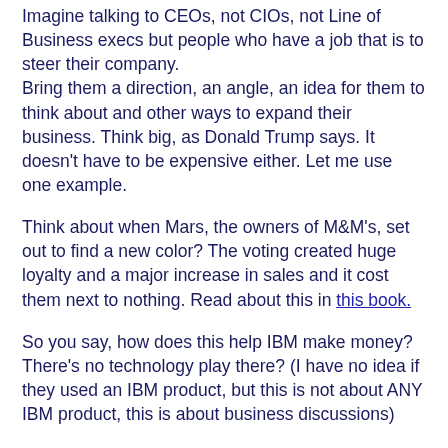Imagine talking to CEOs, not CIOs, not Line of Business execs but people who have a job that is to steer their company.
Bring them a direction, an angle, an idea for them to think about and other ways to expand their business. Think big, as Donald Trump says. It doesn't have to be expensive either. Let me use one example.
Think about when Mars, the owners of M&M's, set out to find a new color? The voting created huge loyalty and a major increase in sales and it cost them next to nothing. Read about this in this book.
So you say, how does this help IBM make money? There's no technology play there? (I have no idea if they used an IBM product, but this is not about ANY IBM product, this is about business discussions)
Not true at all, how did M&Ms stay in contact with the world? How do they today? How do they know when a great idea has been submitted? How do they find out?